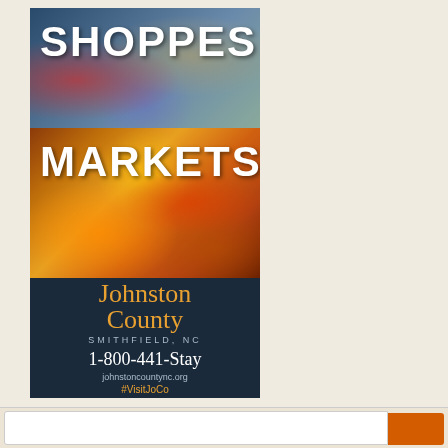[Figure (illustration): Johnston County tourism advertisement showing SHOPPES and MARKETS sections with colorful product images, Johnston County cursive logo, Smithfield NC text, phone number 1-800-441-STAY, website johnstouncountyNC.org, and #VisitJoCo hashtag on dark navy background]
Free Visitors Guide
Get your free Visitors Guide today to learn about Johnston County and all it has to offer! Get the Guide >
Sign up for our Event Newsletter